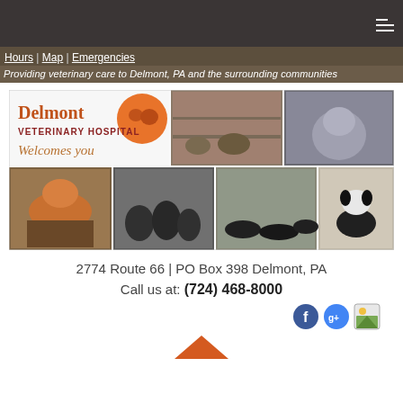≡ (hamburger menu icon)
Hours | Map | Emergencies
Providing veterinary care to Delmont, PA and the surrounding communities
[Figure (photo): Collage of animal photos and Delmont Veterinary Hospital logo. Top left: logo with orange circle containing cat and dog silhouettes, text 'Delmont VETERINARY HOSPITAL Welcomes you'. Top center: kittens on a shelf. Top right: husky dog. Bottom left: orange cat on a chair. Bottom center-left: black puppies standing. Bottom center-right: black puppies lying down. Bottom right: black and white dog sitting.]
2774 Route 66 | PO Box 398 Delmont, PA
Call us at: (724) 468-8000
[Figure (logo): Three social media icons: Facebook (blue circle with f), Google Plus (blue circle with g+), and an image/map icon (square with landscape image)]
[Figure (illustration): Orange/red diamond/arrow shape at bottom center, partially visible]